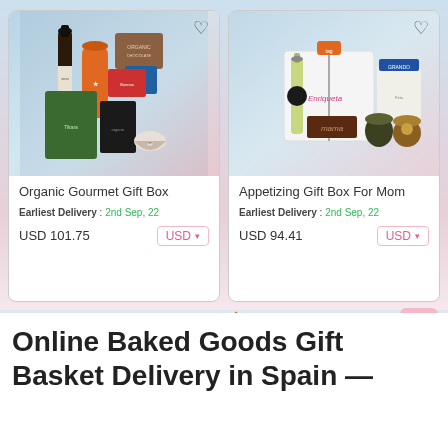[Figure (photo): Product card for Organic Gourmet Gift Box showing assorted organic products including wine bottle, tea boxes, and specialty foods]
Organic Gourmet Gift Box
Earliest Delivery : 2nd Sep, 22
USD 101.75
[Figure (photo): Product card for Appetizing Gift Box For Mom showing wine bottle, chocolate, jars, and specialty food products]
Appetizing Gift Box For Mom
Earliest Delivery : 2nd Sep, 22
USD 94.41
Online Baked Goods Gift Basket Delivery in Spain —